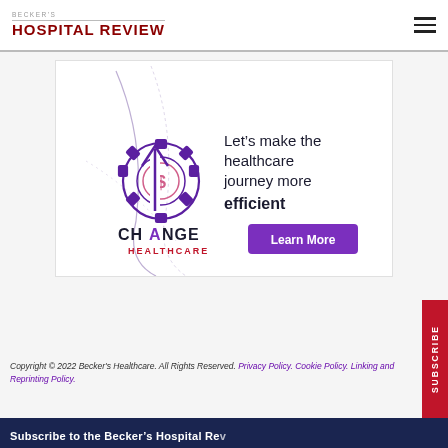BECKER'S HOSPITAL REVIEW
[Figure (infographic): Change Healthcare advertisement banner showing a gear with dollar sign and upward arrow graphic, text 'Let's make the healthcare journey more efficient', Change Healthcare logo, and a purple 'Learn More' button]
Copyright © 2022 Becker's Healthcare. All Rights Reserved. Privacy Policy. Cookie Policy. Linking and Reprinting Policy.
Subscribe to the Becker's Hospital Review